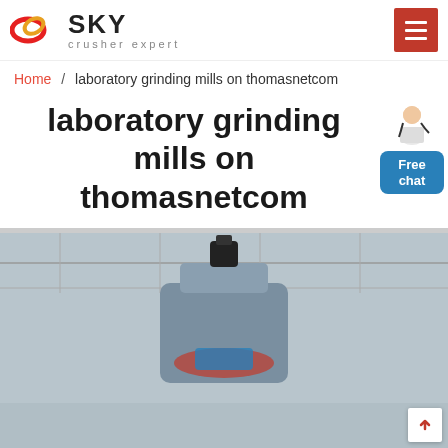SKY crusher expert
Home / laboratory grinding mills on thomasnetcom
laboratory grinding mills on thomasnetcom
[Figure (photo): Industrial grinding mill machinery photographed from below in a factory/warehouse setting, showing a large cylindrical blue/grey machine with a dark motor on top, against a background of roof trusses.]